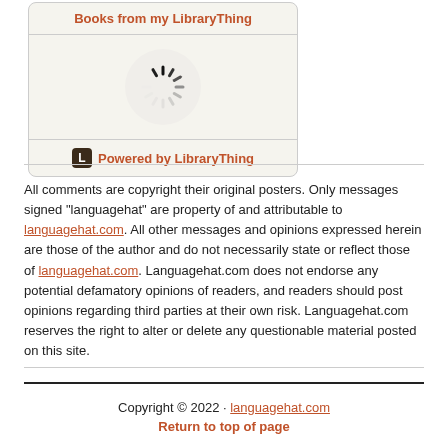[Figure (screenshot): LibraryThing widget box with header 'Books from my LibraryThing', a loading spinner in the center, and a 'Powered by LibraryThing' footer with the LibraryThing logo.]
All comments are copyright their original posters. Only messages signed "languagehat" are property of and attributable to languagehat.com. All other messages and opinions expressed herein are those of the author and do not necessarily state or reflect those of languagehat.com. Languagehat.com does not endorse any potential defamatory opinions of readers, and readers should post opinions regarding third parties at their own risk. Languagehat.com reserves the right to alter or delete any questionable material posted on this site.
Copyright © 2022 · languagehat.com
Return to top of page